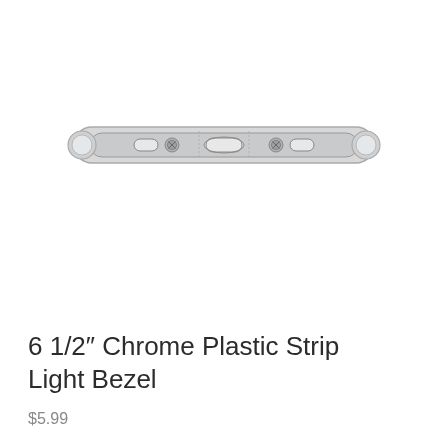[Figure (photo): A chrome plastic strip light bezel — a long, slim, horizontally oriented component with rounded ends. It has a translucent/clear plastic body with visible mounting slots, two screw positions, and small oval lens windows at each end. The component appears to be a mounting bracket or bezel for a strip light.]
6 1/2″ Chrome Plastic Strip Light Bezel
$5.99